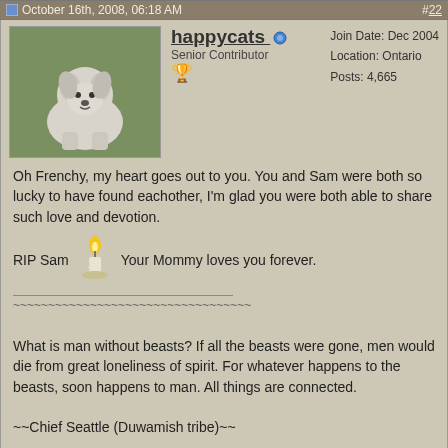October 16th, 2008, 06:18 AM  #22
happycats  Senior Contributor
Join Date: Dec 2004
Location: Ontario
Posts: 4,665
Oh Frenchy, my heart goes out to you. You and Sam were both so lucky to have found eachother, I'm glad you were both able to share such love and devotion.
RIP Sam  Your Mommy loves you forever.
What is man without beasts? If all the beasts were gone, men would die from great loneliness of spirit. For whatever happens to the beasts, soon happens to man. All things are connected.

~~Chief Seattle (Duwamish tribe)~~
October 16th, 2008, 06:51 AM  #23
Love4himies  Rescue is my fav. breed
Join Date: Mar 2007
Location: Boating in the 1000 Islands
Posts: 17,769